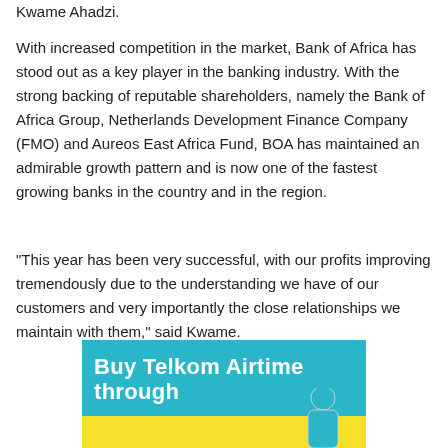Kwame Ahadzi.
With increased competition in the market, Bank of Africa has stood out as a key player in the banking industry. With the strong backing of reputable shareholders, namely the Bank of Africa Group, Netherlands Development Finance Company (FMO) and Aureos East Africa Fund, BOA has maintained an admirable growth pattern and is now one of the fastest growing banks in the country and in the region.
“This year has been very successful, with our profits improving tremendously due to the understanding we have of our customers and very importantly the close relationships we maintain with them,” said Kwame.
[Figure (illustration): Advertisement banner: teal background with bold white text reading 'Buy Telkom Airtime through', yellow bar at bottom, and partial figure silhouette.]